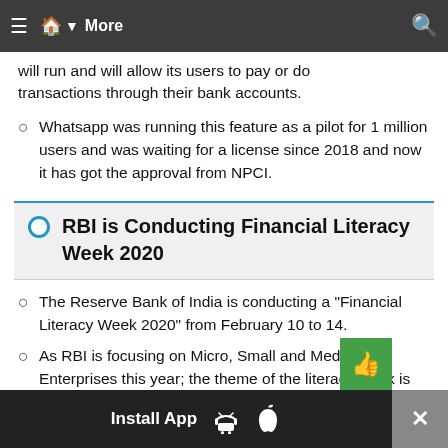≡ 🏠 ▾ More | Q
will run and will allow its users to pay or do transactions through their bank accounts.
Whatsapp was running this feature as a pilot for 1 million users and was waiting for a license since 2018 and now it has got the approval from NPCI.
RBI is Conducting Financial Literacy Week 2020
The Reserve Bank of India is conducting a "Financial Literacy Week 2020" from February 10 to 14.
As RBI is focusing on Micro, Small and Medium Enterprises this year; the theme of the literacy week is "Micro, Small and Medium Enterprises (MSMEs)".
Install App  [Android] [Apple]  ×